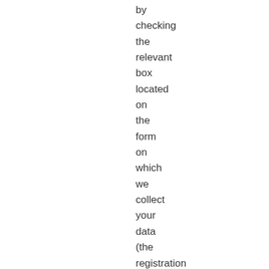by checking the relevant box located on the form on which we collect your data (the registration form) or